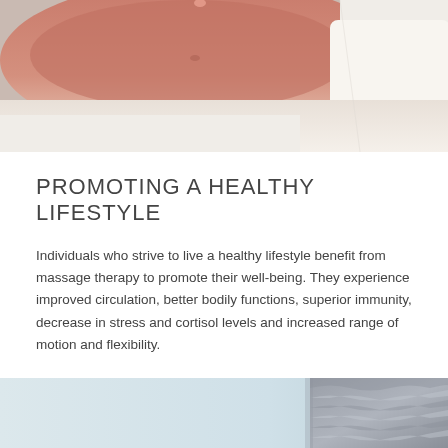[Figure (photo): Close-up photo of a person lying on a massage table, showing their torso/stomach area against white towels, with a rosy/warm skin tone. Top portion of the page.]
PROMOTING A HEALTHY LIFESTYLE
Individuals who strive to live a healthy lifestyle benefit from massage therapy to promote their well-being. They experience improved circulation, better bodily functions, superior immunity, decrease in stress and cortisol levels and increased range of motion and flexibility.
[Figure (photo): Bottom partial photo showing a light blue/grey background on the left and a braided/woven grey textile or rope object on the right side. Bottom portion of the page, partially visible.]